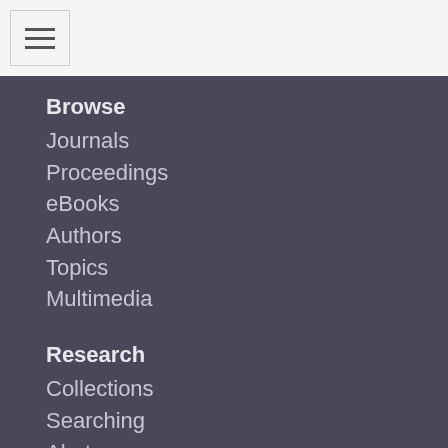[Figure (screenshot): Navigation menu bar with hamburger icon on white background]
Browse
Journals
Proceedings
eBooks
Authors
Topics
Multimedia
Research
Collections
Searching
Alerts
Popular Articles
Access & Content
Subscribe
About Access
Check Access
Content